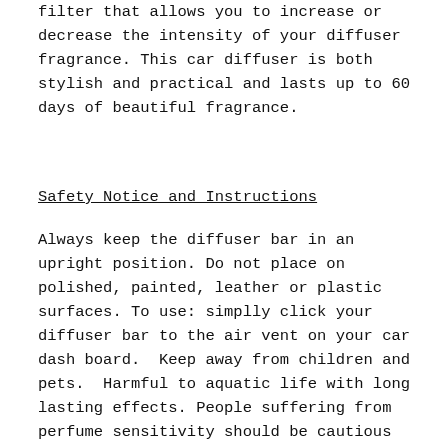filter that allows you to increase or decrease the intensity of your diffuser fragrance. This car diffuser is both stylish and practical and lasts up to 60 days of beautiful fragrance.
Safety Notice and Instructions
Always keep the diffuser bar in an upright position. Do not place on polished, painted, leather or plastic surfaces. To use: simplly click your diffuser bar to the air vent on your car dash board.  Keep away from children and pets.  Harmful to aquatic life with long lasting effects. People suffering from perfume sensitivity should be cautious when using this product. Always wear protective gloves when handling this product, may cause an allergic skin reaction.  IF IN EYES rinse continuously with water for several minutes.  Remove contact lenses, if present and easy to do.  Continue rinsing.  If eye irritation persists, get